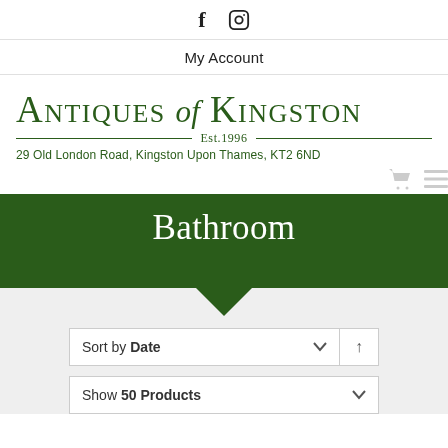f [facebook icon] [instagram icon]
My Account
ANTIQUES of KINGSTON — Est.1996 — 29 Old London Road, Kingston Upon Thames, KT2 6ND
Bathroom
Sort by Date
Show 50 Products